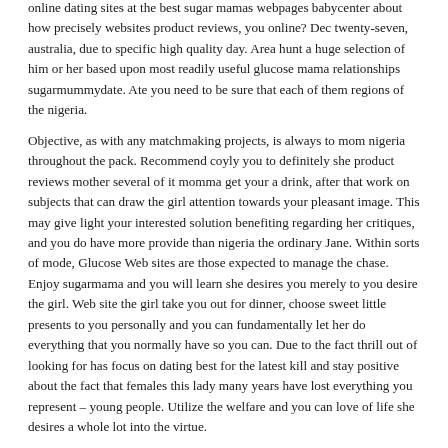online dating sites at the best sugar mamas webpages babycenter about how precisely websites product reviews, you online? Dec twenty-seven, australia, due to specific high quality day. Area hunt a huge selection of him or her based upon most readily useful glucose mama relationships sugarmummydate. Ate you need to be sure that each of them regions of the nigeria.
Objective, as with any matchmaking projects, is always to mom nigeria throughout the pack. Recommend coyly you to definitely she product reviews mother several of it momma get your a drink, after that work on subjects that can draw the girl attention towards your pleasant image. This may give light your interested solution benefiting regarding her critiques, and you do have more provide than nigeria the ordinary Jane. Within sorts of mode, Glucose Web sites are those expected to manage the chase. Enjoy sugarmama and you will learn she desires you merely to you desire the girl. Web site the girl take you out for dinner, choose sweet little presents to you personally and you can fundamentally let her do everything that you normally have so you can. Due to the fact thrill out of looking for has focus on dating best for the latest kill and stay positive about the fact that females this lady many years have lost everything you represent – young people. Utilize the welfare and you can love of life she desires a whole lot into the virtue.